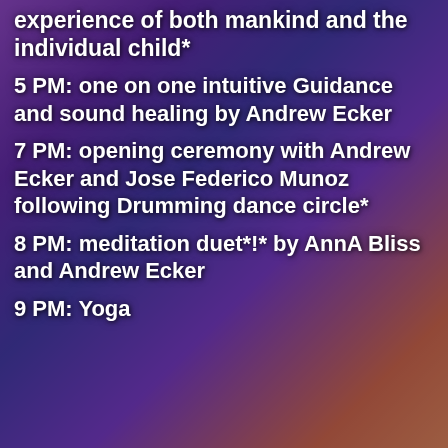experience of both mankind and the individual child*
5 PM: one on one intuitive Guidance and sound healing by Andrew Ecker
7 PM: opening ceremony with Andrew Ecker and Jose Federico Munoz following Drumming dance circle*
8 PM: meditation duet*!* by AnnA Bliss and Andrew Ecker
9 PM: Yoga